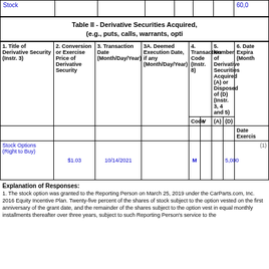| Stock |
| --- |
|  |  |  |  |  |  | 60,0 |
Table II - Derivative Securities Acquired, (e.g., puts, calls, warrants, opti
| 1. Title of Derivative Security (Instr. 3) | 2. Conversion or Exercise Price of Derivative Security | 3. Transaction Date (Month/Day/Year) | 3A. Deemed Execution Date, if any (Month/Day/Year) | 4. Transaction Code (Instr. 8) |  | 5. Number of Derivative Securities Acquired (A) or Disposed of (D) (Instr. 3, 4 and 5) |  | 6. Date Expira (Month |
| --- | --- | --- | --- | --- | --- | --- | --- | --- |
| Code | V | (A) | (D) | Date Exercis |
| Stock Options (Right to Buy) | $1.03 | 10/14/2021 |  | M |  |  | 5,000 | (1) |
Explanation of Responses:
1. The stock option was granted to the Reporting Person on March 25, 2019 under the CarParts.com, Inc. 2016 Equity Incentive Plan. Twenty-five percent of the shares of stock subject to the option vested on the first anniversary of the grant date, and the remainder of the shares subject to the option vest in equal monthly installments thereafter over three years, subject to such Reporting Person's service to the